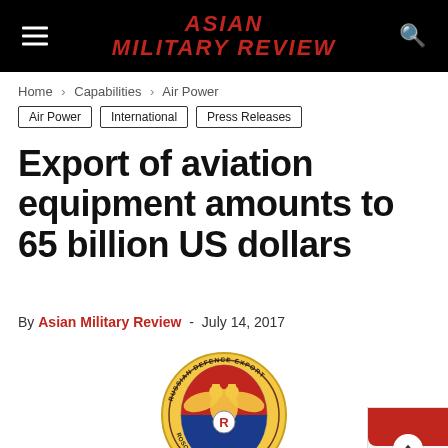ASIAN MILITARY REVIEW
Home > Capabilities > Air Power
Air Power
International
Press Releases
Export of aviation equipment amounts to 65 billion US dollars
By Asian Military Review - July 14, 2017
[Figure (logo): Rosoboronexport - Russian Defence Export circular badge logo with double-headed eagle emblem]